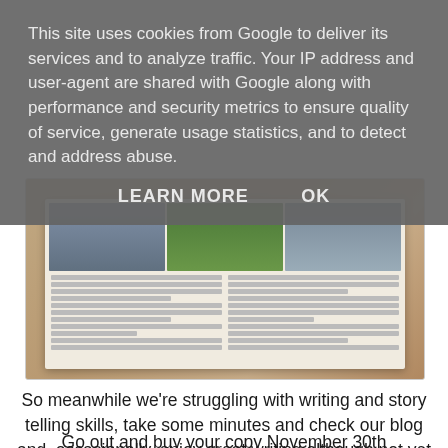This site uses cookies from Google to deliver its services and to analyze traffic. Your IP address and user-agent are shared with Google along with performance and security metrics to ensure quality of service, generate usage statistics, and to detect and address abuse.
LEARN MORE    OK
[Figure (photo): Photo of an open magazine spread on a wooden surface, showing three images across the top (a person driving, a green field with signs, and a person with sunglasses) and two columns of text below.]
So meanwhile we're struggling with writing and story telling skills, take some minutes and check our blog and, occasionally, enjoy great writing although not yet even on paperback level. So far we operate on monthly printed on glossy papper.
Go out and buy your copy November 30th